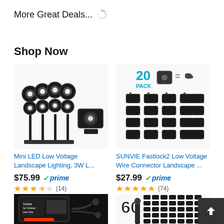More Great Deals...
Shop Now
[Figure (photo): Mini LED low voltage landscape lighting fixtures, multiple spike lights with one spotlight]
Mini LED Low Voltage Landscape Lighting, 3W L...
$75.99 prime (14 reviews, 3.5 stars)
[Figure (photo): SUNVIE Fastlock2 20 PACK low voltage wire connectors, black, arranged in rows]
SUNVIE Fastlock2 Low Voltage Wire Connector Landscape ...
$27.99 prime (74 reviews, 5 stars)
[Figure (photo): Outdoor low voltage landscape lighting timer/transformer with power cord]
[Figure (photo): 50-pack low voltage wire connectors with spike stake]